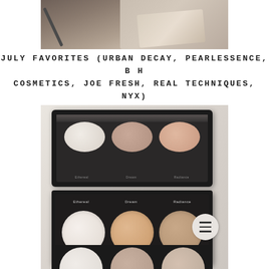[Figure (photo): Top portion of a makeup palette with brushes visible on a wooden surface, cropped at top]
JULY FAVORITES (URBAN DECAY, PEARLESSENCE, B H COSMETICS, JOE FRESH, REAL TECHNIQUES, NYX)
[Figure (photo): Open makeup highlight/contour palette showing two rows of three circular powder pans. Top compact shows smaller pans with shades. Bottom compact shows larger pans labeled Ethereal, Dream, Radiance. A hamburger menu icon button is visible in bottom right. A third partially visible palette is cropped at the bottom.]